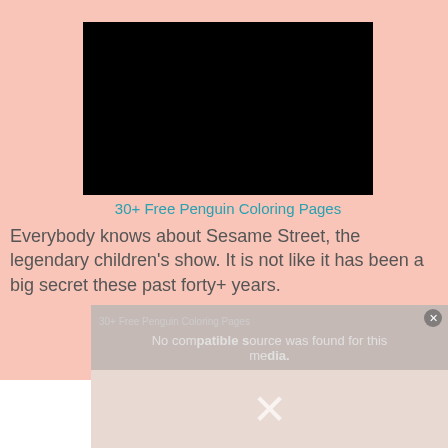[Figure (screenshot): Black video player rectangle]
30+ Free Penguin Coloring Pages
Everybody knows about Sesame Street, the legendary children's show. It is not like it has been a big secret these past forty+ years.
[Figure (screenshot): Video overlay showing '30+ Free Penguin Coloring Pages' title and 'No compatible source was found for this media.' message with a cartoon penguin image and X close button below]